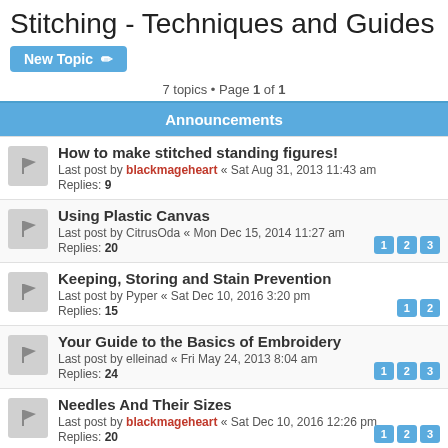Stitching - Techniques and Guides
New Topic
7 topics • Page 1 of 1
Announcements
How to make stitched standing figures! Last post by blackmageheart « Sat Aug 31, 2013 11:43 am Replies: 9
Using Plastic Canvas Last post by CitrusOda « Mon Dec 15, 2014 11:27 am Replies: 20
Keeping, Storing and Stain Prevention Last post by Pyper « Sat Dec 10, 2016 3:20 pm Replies: 15
Your Guide to the Basics of Embroidery Last post by elleinad « Fri May 24, 2013 8:04 am Replies: 24
Needles And Their Sizes Last post by blackmageheart « Sat Dec 10, 2016 12:26 pm Replies: 20
Stain Removal Last post by Pyper « Sat Dec 10, 2016 3:39 am Replies: 1